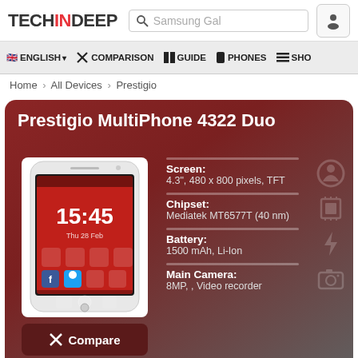TECHINDEEP — Samsung Gal [search bar]
ENGLISH | COMPARISON | GUIDE | PHONES | SHO
Home › All Devices › Prestigio
Prestigio MultiPhone 4322 Duo
[Figure (photo): White smartphone showing red homescreen with time 15:45 and app icons]
Compare
Screen:
4.3", 480 x 800 pixels, TFT
Chipset:
Mediatek MT6577T (40 nm)
Battery:
1500 mAh, Li-Ion
Main Camera:
8MP, , Video recorder